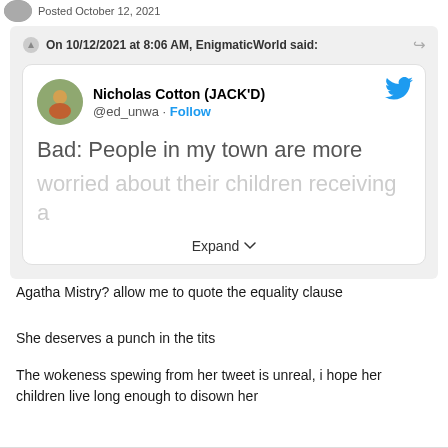Posted October 12, 2021
On 10/12/2021 at 8:06 AM, EnigmaticWorld said:
[Figure (screenshot): Embedded tweet from Nicholas Cotton (JACK'D) @ed_unwa with Follow button and Twitter bird icon. Tweet text: 'Bad: People in my town are more worried about their children receiving a' with Expand button.]
Agatha Mistry? allow me to quote the equality clause
She deserves a punch in the tits
The wokeness spewing from her tweet is unreal, i hope her children live long enough to disown her